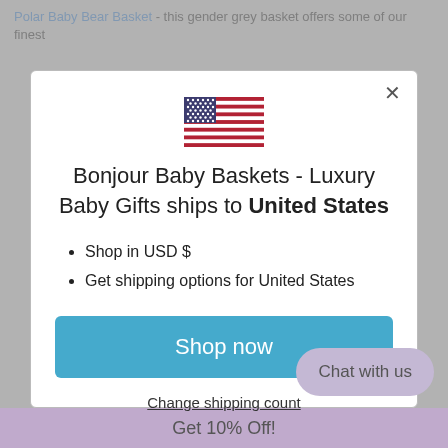Polar Baby Bear Basket - this gender grey basket offers some of our finest
[Figure (illustration): US flag SVG inline illustration]
Bonjour Baby Baskets - Luxury Baby Gifts ships to United States
Shop in USD $
Get shipping options for United States
Shop now
Change shipping count
Chat with us
Get 10% Off!